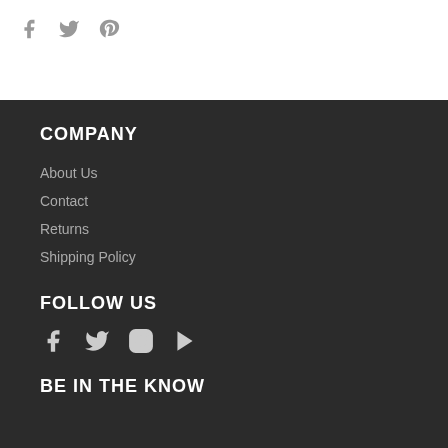[Figure (other): Social share icons: Facebook, Twitter, Pinterest in gray]
COMPANY
About Us
Contact
Returns
Shipping Policy
FOLLOW US
[Figure (other): Social media icons: Facebook, Twitter, Instagram, YouTube in light gray]
BE IN THE KNOW